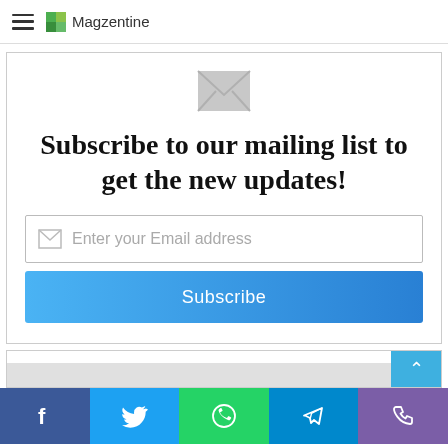Magzentine
Subscribe to our mailing list to get the new updates!
Enter your Email address
Subscribe
[Figure (screenshot): Footer area with scroll-to-top button and gray bar]
[Figure (infographic): Social media sharing bar with Facebook, Twitter, WhatsApp, Telegram, and Phone icons]